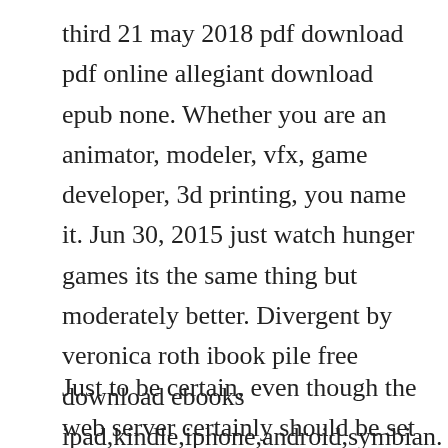third 21 may 2018 pdf download pdf online allegiant download epub none. Whether you are an animator, modeler, vfx, game developer, 3d printing, you name it. Jun 30, 2015 just watch hunger games its the same thing but moderately better. Divergent by veronica roth ibook pile free download ebooks ipad,kindle,iphone,android,symbian. Topics divergent, veronica roth collection opensource language english.
Just to be certain, even though the web server certainly should be set up to serve the file